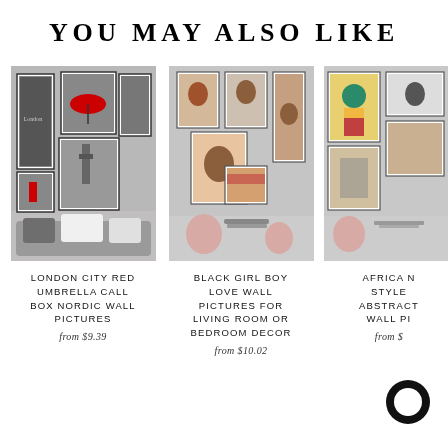YOU MAY ALSO LIKE
[Figure (photo): Gallery wall with London city black and white photos featuring red umbrella and call box, displayed above a couch with pillows]
LONDON CITY RED UMBRELLA CALL BOX NORDIC WALL PICTURES
from $9.39
[Figure (photo): Gallery wall with Black girl boy love artwork paintings displayed above decorative items]
BLACK GIRL BOY LOVE WALL PICTURES FOR LIVING ROOM OR BEDROOM DECOR
from $10.02
[Figure (photo): Gallery wall with Africa style abstract colorful artwork pictures partially visible]
AFRICA N STYLE ABSTRACT WALL PI
from $
[Figure (illustration): Black circular chat bubble icon in bottom right corner]